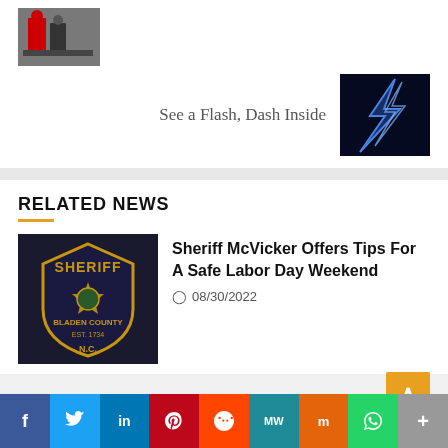[Figure (photo): Small thumbnail of people in a room]
Next
See a Flash, Dash Inside
[Figure (photo): Lightning bolt on dark blue background]
RELATED NEWS
[Figure (photo): Bladen County Sheriff badge logo]
Sheriff McVicker Offers Tips For A Safe Labor Day Weekend
08/30/2022